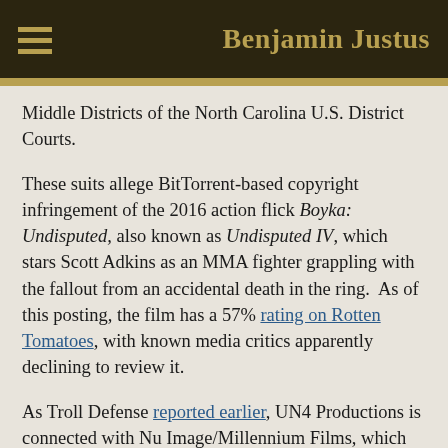Benjamin Justus
Middle Districts of the North Carolina U.S. District Courts.
These suits allege BitTorrent-based copyright infringement of the 2016 action flick Boyka: Undisputed, also known as Undisputed IV, which stars Scott Adkins as an MMA fighter grappling with the fallout from an accidental death in the ring.  As of this posting, the film has a 57% rating on Rotten Tomatoes, with known media critics apparently declining to review it.
As Troll Defense reported earlier, UN4 Productions is connected with Nu Image/Millennium Films, which has